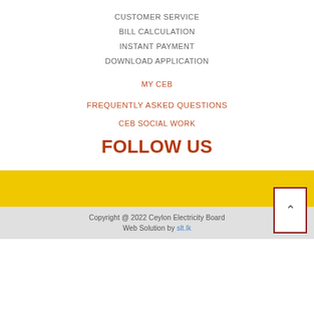CUSTOMER SERVICE
BILL CALCULATION
INSTANT PAYMENT
DOWNLOAD APPLICATION
MY CEB
FREQUENTLY ASKED QUESTIONS
CEB SOCIAL WORK
FOLLOW US
Copyright @ 2022 Ceylon Electricity Board
Web Solution by slt.lk